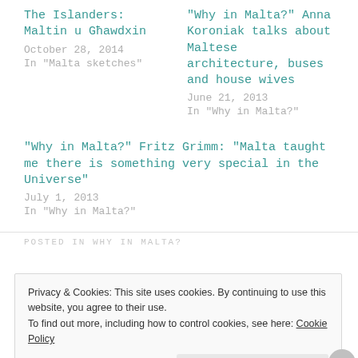The Islanders: Maltin u Għawdxin
October 28, 2014
In "Malta sketches"
“Why in Malta?” Anna Koroniak talks about Maltese architecture, buses and house wives
June 21, 2013
In “Why in Malta?”
“Why in Malta?” Fritz Grimm: “Malta taught me there is something very special in the Universe”
July 1, 2013
In “Why in Malta?”
POSTED IN WHY IN MALTA?
Privacy & Cookies: This site uses cookies. By continuing to use this website, you agree to their use.
To find out more, including how to control cookies, see here: Cookie Policy
Close and accept